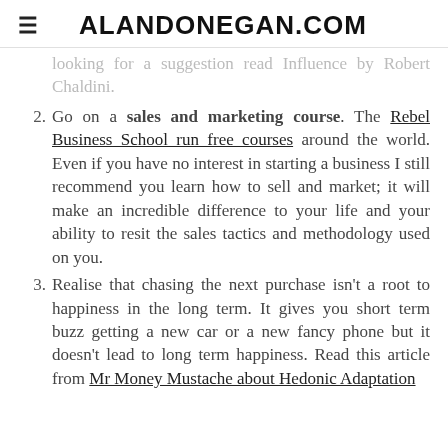ALANDONEGAN.COM
looking for a suggestion read Influence by Robert Chaldini.
Go on a sales and marketing course. The Rebel Business School run free courses around the world. Even if you have no interest in starting a business I still recommend you learn how to sell and market; it will make an incredible difference to your life and your ability to resit the sales tactics and methodology used on you.
Realise that chasing the next purchase isn't a root to happiness in the long term. It gives you short term buzz getting a new car or a new fancy phone but it doesn't lead to long term happiness. Read this article from Mr Money Mustache about Hedonic Adaptation